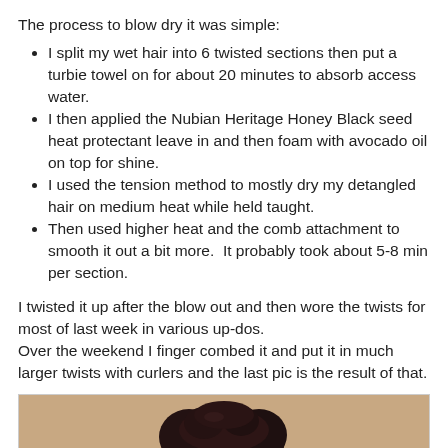The process to blow dry it was simple:
I split my wet hair into 6 twisted sections then put a turbie towel on for about 20 minutes to absorb access water.
I then applied the Nubian Heritage Honey Black seed heat protectant leave in and then foam with avocado oil on top for shine.
I used the tension method to mostly dry my detangled hair on medium heat while held taught.
Then used higher heat and the comb attachment to smooth it out a bit more.  It probably took about 5-8 min per section.
I twisted it up after the blow out and then wore the twists for most of last week in various up-dos.
Over the weekend I finger combed it and put it in much larger twists with curlers and the last pic is the result of that.
[Figure (photo): Photo of hair styled in large twists with curlers, partial view showing dark hair against a beige/tan background.]